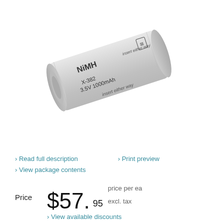[Figure (photo): NiMH battery X-382 3.5V 1000mAh, silver cylindrical battery labeled 'insert either way', shown at an angle on white background]
Read full description
Print preview
View package contents
Price $57.95 price per ea excl. tax
View available discounts